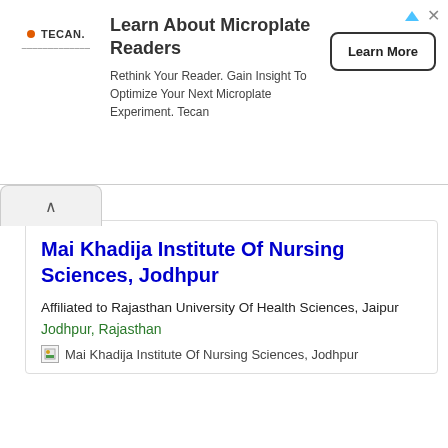[Figure (screenshot): Advertisement banner for Tecan microplate readers with logo, headline, body text, and Learn More button]
Mai Khadija Institute Of Nursing Sciences, Jodhpur
Affiliated to Rajasthan University Of Health Sciences, Jaipur
Jodhpur, Rajasthan
[Figure (photo): Broken image placeholder for Mai Khadija Institute Of Nursing Sciences, Jodhpur]